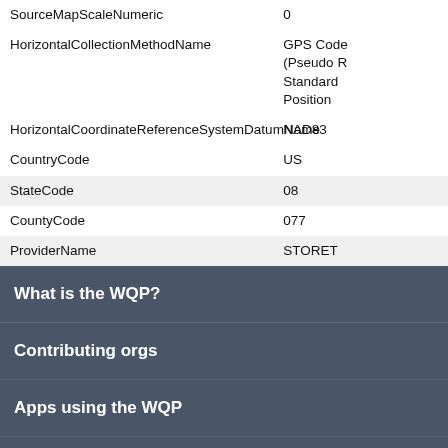| Field | Value |
| --- | --- |
| SourceMapScaleNumeric | 0 |
| HorizontalCollectionMethodName | GPS Code (Pseudo R Standard Position |
| HorizontalCoordinateReferenceSystemDatumName | NAD83 |
| CountryCode | US |
| StateCode | 08 |
| CountryCode | 077 |
| ProviderName | STORET |
What is the WQP?
Contributing orgs
Apps using the WQP
Other Water Quality Portals
Explore WQP sites